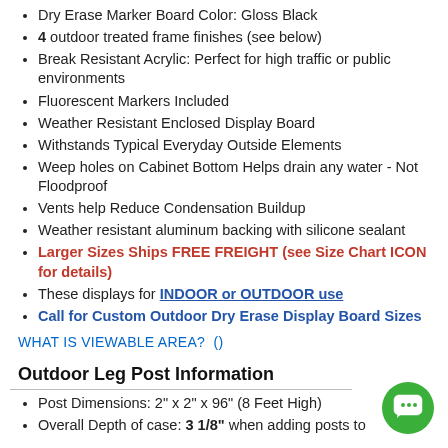Dry Erase Marker Board Color: Gloss Black
4 outdoor treated frame finishes (see below)
Break Resistant Acrylic: Perfect for high traffic or public environments
Fluorescent Markers Included
Weather Resistant Enclosed Display Board
Withstands Typical Everyday Outside Elements
Weep holes on Cabinet Bottom Helps drain any water - Not Floodproof
Vents help Reduce Condensation Buildup
Weather resistant aluminum backing with silicone sealant
Larger Sizes Ships FREE FREIGHT (see Size Chart ICON for details)
These displays for INDOOR or OUTDOOR use
Call for Custom Outdoor Dry Erase Display Board Sizes
WHAT IS VIEWABLE AREA?  ()
Outdoor Leg Post Information
Post Dimensions: 2" x 2" x 96" (8 Feet High)
Overall Depth of case: 3 1/8" when adding posts to